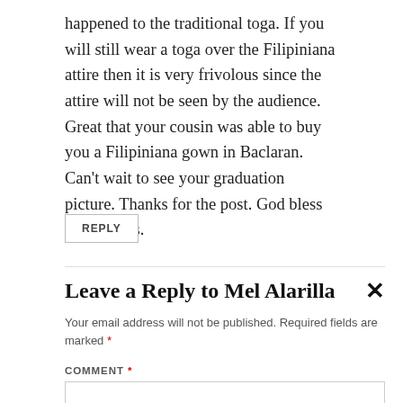happened to the traditional toga. If you will still wear a toga over the Filipiniana attire then it is very frivolous since the attire will not be seen by the audience. Great that your cousin was able to buy you a Filipiniana gown in Baclaran. Can't wait to see your graduation picture. Thanks for the post. God bless you always.
REPLY
Leave a Reply to Mel Alarilla
Your email address will not be published. Required fields are marked *
COMMENT *